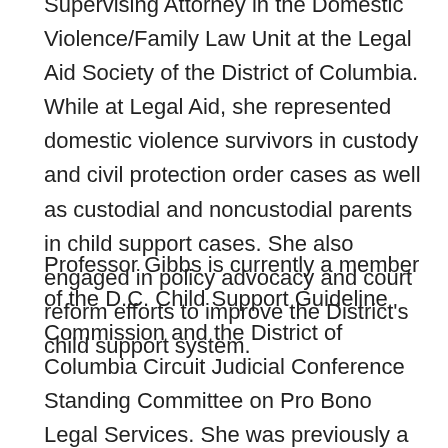Supervising Attorney in the Domestic Violence/Family Law Unit at the Legal Aid Society of the District of Columbia. While at Legal Aid, she represented domestic violence survivors in custody and civil protection order cases as well as custodial and noncustodial parents in child support cases. She also engaged in policy advocacy and court reform efforts to improve the District's child support system.
Professor Gibbs is currently a member of the D.C. Child Support Guideline Commission and the District of Columbia Circuit Judicial Conference Standing Committee on Pro Bono Legal Services. She was previously a member of the Steering Committee of the D.C. Bar Family Law Community, the D.C. Superior